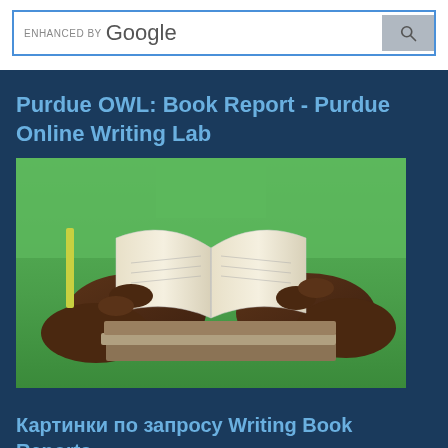[Figure (screenshot): Google search bar with 'enhanced by Google' text and search button]
Purdue OWL: Book Report - Purdue Online Writing Lab
[Figure (photo): Person in green shirt holding an open book, with a stack of books below]
Картинки по запросу Writing Book Reports